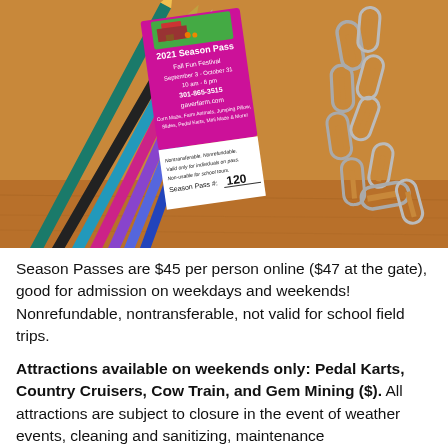[Figure (photo): A photo showing colored pencils fanned out on a wooden surface, a pink/magenta 2021 Season Pass card for Gaver Farm Fall Fun Festival (September 3 - October 31, 10am-6pm, 301-865-3515, gaverfarm.com, Season Pass #120), and metal paperclips scattered to the right.]
Season Passes are $45 per person online ($47 at the gate), good for admission on weekdays and weekends! Nonrefundable, nontransferable, not valid for school field trips.
Attractions available on weekends only: Pedal Karts, Country Cruisers, Cow Train, and Gem Mining ($). All attractions are subject to closure in the event of weather events, cleaning and sanitizing, maintenance